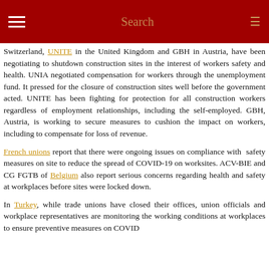Search
Switzerland, UNITE in the United Kingdom and GBH in Austria, have been negotiating to shutdown construction sites in the interest of workers safety and health. UNIA negotiated compensation for workers through the unemployment fund. It pressed for the closure of construction sites well before the government acted. UNITE has been fighting for protection for all construction workers regardless of employment relationships, including the self-employed. GBH, Austria, is working to secure measures to cushion the impact on workers, including to compensate for loss of revenue.
French unions report that there were ongoing issues on compliance with safety measures on site to reduce the spread of COVID-19 on worksites. ACV-BIE and CG FGTB of Belgium also report serious concerns regarding health and safety at workplaces before sites were locked down.
In Turkey, while trade unions have closed their offices, union officials and workplace representatives are monitoring the working conditions at workplaces to ensure preventive measures on COVID